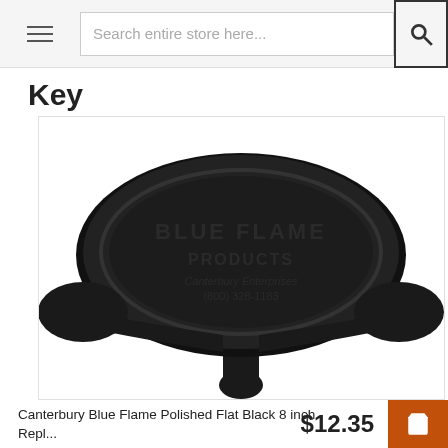Search entire store here...
Key
[Figure (photo): Black cast metal key with oval head embossed with 'BLUE FLAME PRODUCTS Canterbury Enterprises (800) 328-1183']
Canterbury Blue Flame Polished Flat Black 8 inch Repl...
$12.35